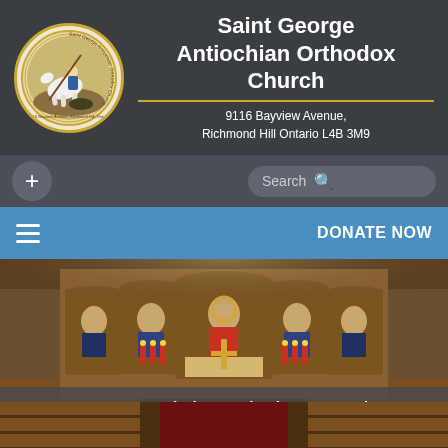Saint George Antiochian Orthodox Church — 9116 Bayview Avenue, Richmond Hill Ontario L4B 3M9
[Figure (logo): Saint George Antiochian Orthodox Church circular logo with gold border showing Saint George on horseback]
Saint George Antiochian Orthodox Church
9116 Bayview Avenue, Richmond Hill Ontario L4B 3M9
[Figure (screenshot): Navigation bar with plus button and search bar]
[Figure (screenshot): Blue navigation bar with hamburger menu icon on left and DONATE NOW text on right]
[Figure (photo): Interior of Saint George Antiochian Orthodox Church showing the iconostasis with religious icons, altar area with candles and red flowers, and wooden pews]
Home > News > Mystical Invocation (St. Symeon the New Theologian)